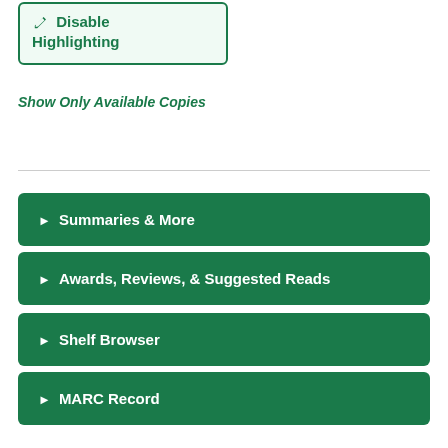✏ Disable Highlighting
Show Only Available Copies
► Summaries & More
► Awards, Reviews, & Suggested Reads
► Shelf Browser
► MARC Record